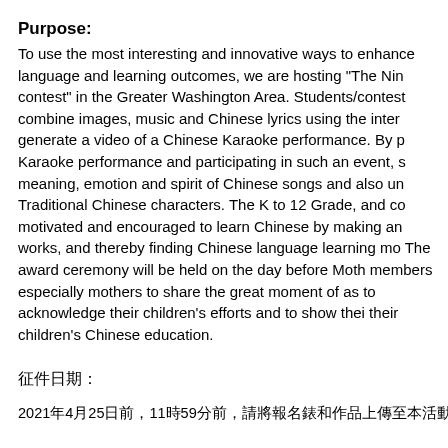Purpose:
To use the most interesting and innovative ways to enhance language and learning outcomes, we are hosting "The Ninth contest" in the Greater Washington Area. Students/contestants combine images, music and Chinese lyrics using the internet to generate a video of a Chinese Karaoke performance. By producing a Karaoke performance and participating in such an event, students understand the meaning, emotion and spirit of Chinese songs and also understand Traditional Chinese characters. The K to 12 Grade, and college students are motivated and encouraged to learn Chinese by making and sharing their works, and thereby finding Chinese language learning more interesting. The award ceremony will be held on the day before Mother's Day to invite family members especially mothers to share the great moment of the students as well as to acknowledge their children's efforts and to show their support in their children's Chinese education.
征件日期:
2021年4月25日前，11時59分前，請將報名錶和作品上傳至本活動網站，4/26開始(北京時間)評審